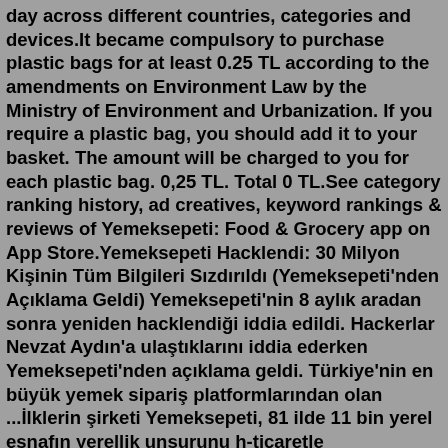day across different countries, categories and devices.It became compulsory to purchase plastic bags for at least 0.25 TL according to the amendments on Environment Law by the Ministry of Environment and Urbanization. If you require a plastic bag, you should add it to your basket. The amount will be charged to you for each plastic bag. 0,25 TL. Total 0 TL.See category ranking history, ad creatives, keyword rankings & reviews of Yemeksepeti: Food & Grocery app on App Store.Yemeksepeti Hacklendi: 30 Milyon Kişinin Tüm Bilgileri Sızdırıldı (Yemeksepeti'nden Açıklama Geldi) Yemeksepeti'nin 8 aylık aradan sonra yeniden hacklendiği iddia edildi. Hackerlar Nevzat Aydın'a ulaştıklarını iddia ederken Yemeksepeti'nden açıklama geldi. Türkiye'nin en büyük yemek sipariş platformlarından olan ...İlklerin şirketi Yemeksepeti, 81 ilde 11 bin yerel esnafın yerellik unsurunu h-ticaretle buluşturduğu Yemeksepeti Mahalle hizmetine semt pazarlarını da ekledi. İlk etapta İstanbul'da 38, İzmir'de 33 semt pazarı sisteme dahil oldu. Bu iki şehirdeki semt